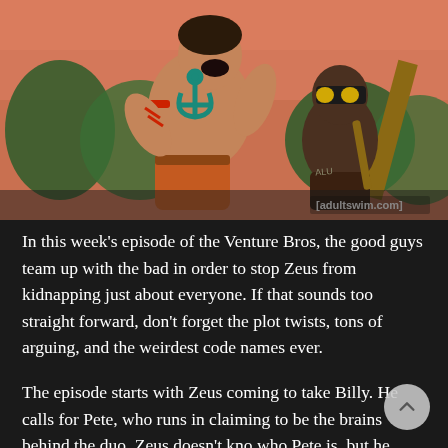[Figure (illustration): Animated screenshot from Adult Swim's Venture Bros showing two muscular cartoon characters: one large man with an anchor tattoo on his chest wearing orange/red pants, and a shorter darker character with goggles. Background is a reddish-orange sky with trees. Adult Swim watermark visible in lower right of image.]
In this week's episode of the Venture Bros, the good guys team up with the bad in order to stop Zeus from kidnapping just about everyone. If that sounds too straight forward, don't forget the plot twists, tons of arguing, and the weirdest code names ever.
The episode starts with Zeus coming to take Billy. He calls for Pete, who runs in claiming to be the brains behind the duo. Zeus doesn't know who Pete is, but he takes them both, perhaps